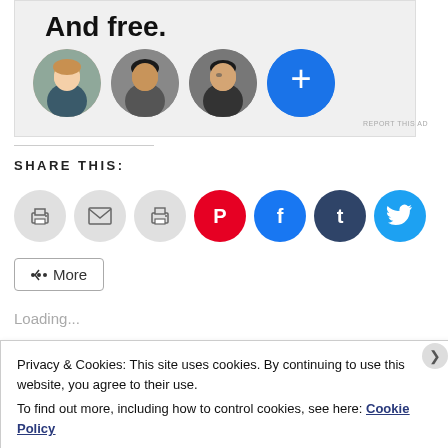[Figure (other): Advertisement banner with bold text 'And free.' and four circular profile photo avatars (three people, one blue plus button)]
SHARE THIS:
[Figure (other): Row of social sharing icon buttons: print, email, print/fax, Pinterest (red), Facebook (blue), Tumblr (dark), Twitter (light blue), and a More button]
Loading...
Privacy & Cookies: This site uses cookies. By continuing to use this website, you agree to their use.
To find out more, including how to control cookies, see here: Cookie Policy